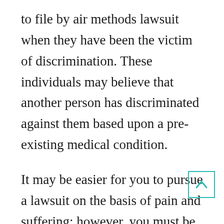to file by air methods lawsuit when they have been the victim of discrimination. These individuals may believe that another person has discriminated against them based upon a pre-existing medical condition.
It may be easier for you to pursue a lawsuit on the basis of pain and suffering; however, you must be extremely careful to avoid becoming another statistic. Your lawsuit must be founded on a genuine belief that the plaintiff affected by...
[Figure (other): Back to top button: a teal-bordered square with an upward-pointing chevron icon]